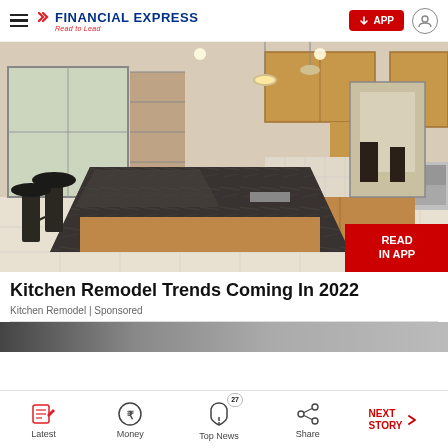FINANCIAL EXPRESS — Read to Lead
[Figure (photo): Kitchen interior with wooden cabinets, dark granite island with bar stools, stainless steel oven, pendant lights, and tiled floor. A dining area is visible through a doorway.]
Kitchen Remodel Trends Coming In 2022
Kitchen Remodel | Sponsored
[Figure (photo): Partially visible image strip at bottom of article feed]
Latest | Money | Top News 27 | Share | NEXT STORY